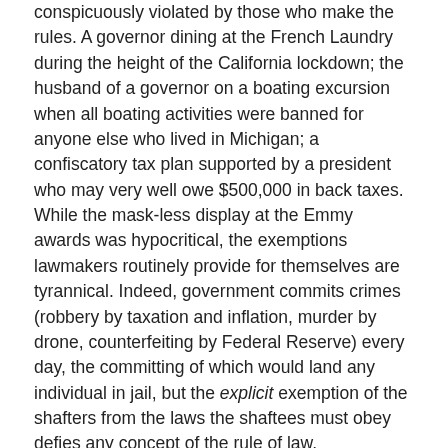conspicuously violated by those who make the rules. A governor dining at the French Laundry during the height of the California lockdown; the husband of a governor on a boating excursion when all boating activities were banned for anyone else who lived in Michigan; a confiscatory tax plan supported by a president who may very well owe $500,000 in back taxes. While the mask-less display at the Emmy awards was hypocritical, the exemptions lawmakers routinely provide for themselves are tyrannical. Indeed, government commits crimes (robbery by taxation and inflation, murder by drone, counterfeiting by Federal Reserve) every day, the committing of which would land any individual in jail, but the explicit exemption of the shafters from the laws the shaftees must obey defies any concept of the rule of law.
When my father asked the late Walter Williams years ago whether state actors were stupid or evil, he responded, "both." However, state actors can't effectively hide behind stupid or the "law of unintended consequences" when they explicitly shield themselves from the same consequences they inflict on the rest of us. I have no doubt that the past and current conduct of federal officials